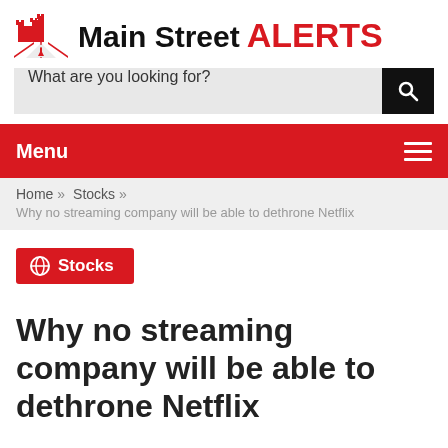[Figure (logo): Main Street ALERTS logo with red castle/city icon and bold text]
[Figure (screenshot): Search bar with placeholder text 'What are you looking for?' and black search button]
[Figure (screenshot): Red navigation menu bar with 'Menu' label and hamburger icon]
Home » Stocks »
Why no streaming company will be able to dethrone Netflix
[Figure (other): Red Stocks category badge with globe icon]
Why no streaming company will be able to dethrone Netflix